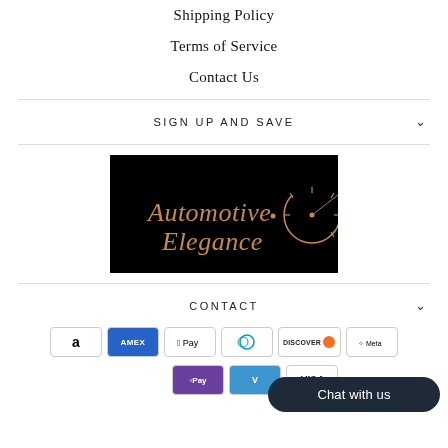Shipping Policy
Terms of Service
Contact Us
SIGN UP AND SAVE
[Figure (logo): Automotive Elegance logo on black background with speedometer graphic and orange-gold stylized text]
CONTACT
[Figure (infographic): Payment method icons: Amazon, Amex, Apple Pay, Diners Club, Discover, Meta Pay, OPay, Venmo, Visa]
Chat with us